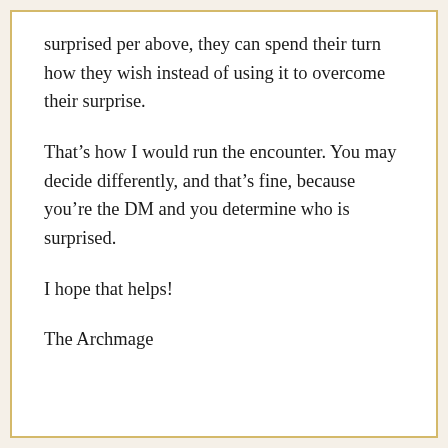surprised per above, they can spend their turn how they wish instead of using it to overcome their surprise.
That's how I would run the encounter. You may decide differently, and that's fine, because you're the DM and you determine who is surprised.
I hope that helps!
The Archmage